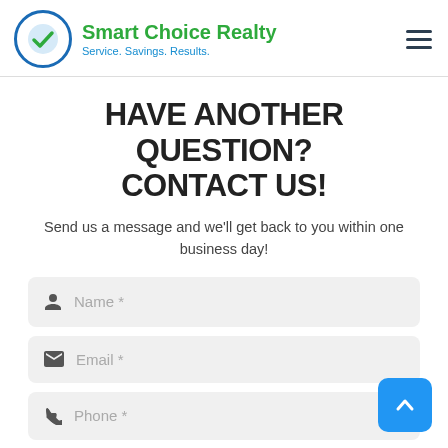Smart Choice Realty — Service. Savings. Results.
HAVE ANOTHER QUESTION? CONTACT US!
Send us a message and we'll get back to you within one business day!
Name *
Email *
Phone *
Text *